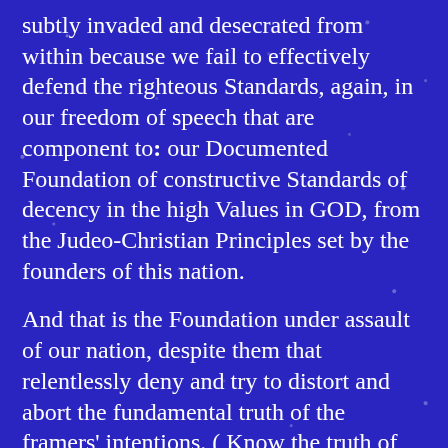subtly invaded and desecrated from within because we fail to effectively defend the righteous Standards, again, in our freedom of speech that are component to: our Documented Foundation of constructive Standards of decency in the high Values in GOD, from the Judeo-Christian Principles set by the founders of this nation.
And that is the Foundation under assault of our nation, despite them that relentlessly deny and try to distort and abort the fundamental truth of the framers' intentions. ( Know the truth of what the founders